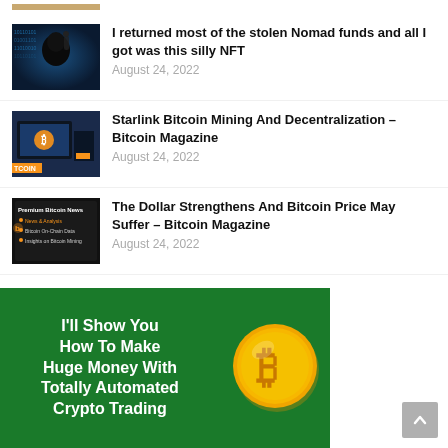[Figure (photo): Partial image at top (cropped) showing a hand/bracelet]
[Figure (photo): Hacker in hoodie with blue digital matrix background]
I returned most of the stolen Nomad funds and all I got was this silly NFT
August 24, 2022
[Figure (photo): Bitcoin laptop/screen with TCOIN label]
Starlink Bitcoin Mining And Decentralization – Bitcoin Magazine
August 24, 2022
[Figure (photo): Premium Bitcoin News newsletter graphic]
The Dollar Strengthens And Bitcoin Price May Suffer – Bitcoin Magazine
August 24, 2022
[Figure (infographic): Green banner ad: I'll Show You How To Make Huge Money With Totally Automated Crypto Trading, with Bitcoin coin image]